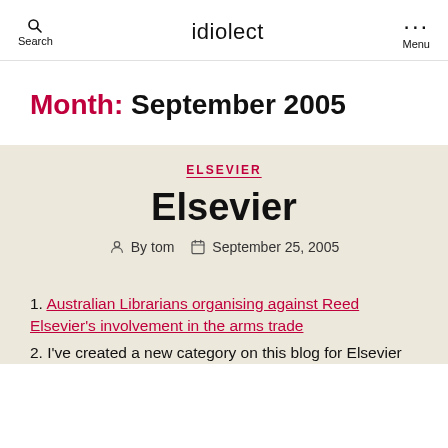Search  idiolect  Menu
Month: September 2005
ELSEVIER
Elsevier
By tom  September 25, 2005
1. Australian Librarians organising against Reed Elsevier's involvement in the arms trade
2. I've created a new category on this blog for Elsevier